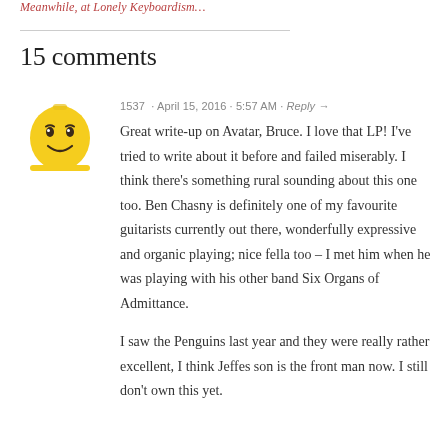Meanwhile, at Lonely Keyboardism…
15 comments
[Figure (illustration): Yellow LEGO head avatar icon with a simple smiley face]
1537  April 15, 2016 · 5:57 AM · Reply →
Great write-up on Avatar, Bruce. I love that LP! I've tried to write about it before and failed miserably. I think there's something rural sounding about this one too. Ben Chasny is definitely one of my favourite guitarists currently out there, wonderfully expressive and organic playing; nice fella too – I met him when he was playing with his other band Six Organs of Admittance.
I saw the Penguins last year and they were really rather excellent, I think Jeffes son is the front man now. I still don't own this yet.